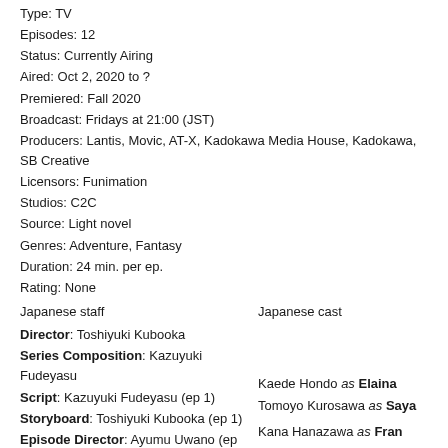Type: TV
Episodes: 12
Status: Currently Airing
Aired: Oct 2, 2020 to ?
Premiered: Fall 2020
Broadcast: Fridays at 21:00 (JST)
Producers: Lantis, Movic, AT-X, Kadokawa Media House, Kadokawa, SB Creative
Licensors: Funimation
Studios: C2C
Source: Light novel
Genres: Adventure, Fantasy
Duration: 24 min. per ep.
Rating: None
Japanese staff
Japanese cast
Director: Toshiyuki Kubooka
Series Composition: Kazuyuki Fudeyasu
Script: Kazuyuki Fudeyasu (ep 1)
Storyboard: Toshiyuki Kubooka (ep 1)
Episode Director: Ayumu Uwano (ep 1)
Music: AstroNoteS
Kaede Hondo as Elaina
Tomoyo Kurosawa as Saya
Kana Hanazawa as Fran
Yōko Hikasa as Sheila
Aoi Ichikawa as Emil (ep 3)